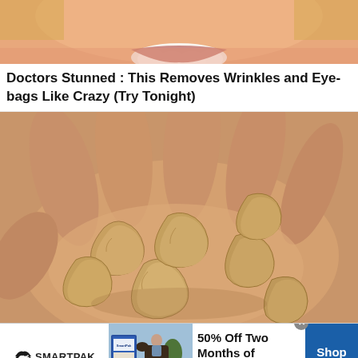[Figure (photo): Close-up of a smiling woman's mouth and chin with blonde hair, cropped at top of page]
Doctors Stunned : This Removes Wrinkles and Eye-bags Like Crazy (Try Tonight)
[Figure (photo): A hand holding several cashew nuts, close-up photo]
[Figure (infographic): SmartPak advertisement banner: '50% Off Two Months of ColiCare, ColiCare Eligible Supplements, CODE: COLICARE10', with SmartPak logo and horse/rider image, Shop Now button]